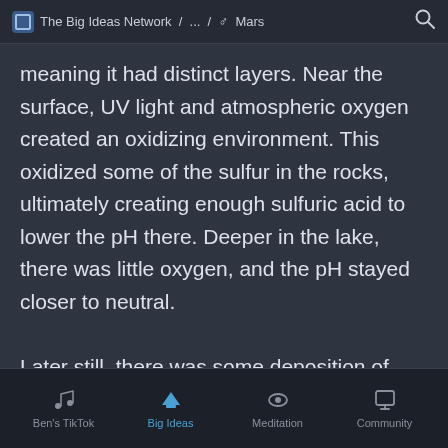The Big Ideas Network / ... / ♂ Mars
meaning it had distinct layers. Near the surface, UV light and atmospheric oxygen created an oxidizing environment. This oxidized some of the sulfur in the rocks, ultimately creating enough sulfuric acid to lower the pH there. Deeper in the lake, there was little oxygen, and the pH stayed closer to neutral.

Later still, there was some deposition of salt-rich deposits. This may represent the period when Mars was losing much of its atmosphere
Ben's TikTok | Big Ideas | Meditation | Community